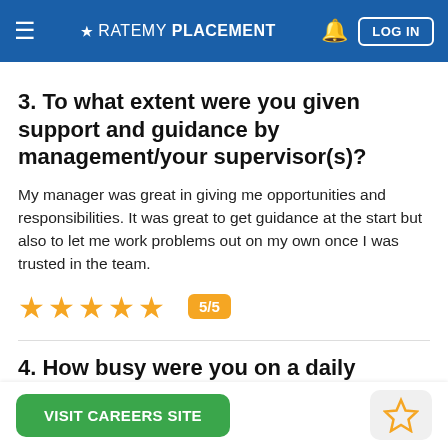RateMyPlacement — LOG IN
3. To what extent were you given support and guidance by management/your supervisor(s)?
My manager was great in giving me opportunities and responsibilities. It was great to get guidance at the start but also to let me work problems out on my own once I was trusted in the team.
[Figure (other): 5 orange star rating icons with a badge showing 5/5]
4. How busy were you on a daily basis?
VISIT CAREERS SITE